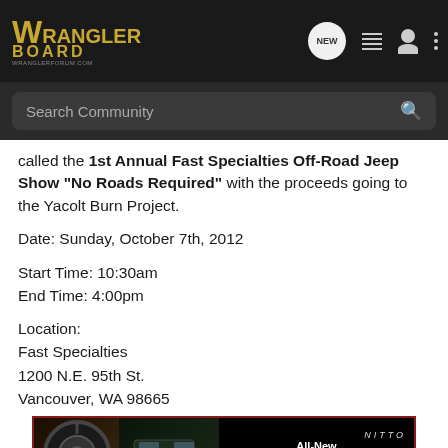Wrangler Board - New | List | User | More
called the 1st Annual Fast Specialties Off-Road Jeep Show "No Roads Required" with the proceeds going to the Yacolt Burn Project.
Date: Sunday, October 7th, 2012
Start Time: 10:30am
End Time: 4:00pm
Location:
Fast Specialties
1200 N.E. 95th St.
Vancouver, WA 98665
[Figure (screenshot): Nitto All-New Nomad Grappler Crossover-Terrain Tire advertisement banner showing a tire and SUV on dark background]
This Eve... the